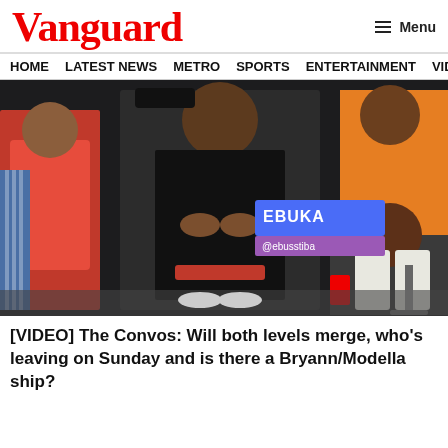Vanguard
HOME  LATEST NEWS  METRO  SPORTS  ENTERTAINMENT  VIDEOS
[Figure (photo): TV show screenshot with multiple people seated; overlay text reads 'EBUKA @ebukatiha']
[VIDEO] The Convos: Will both levels merge, who's leaving on Sunday and is there a Bryann/Modella ship?